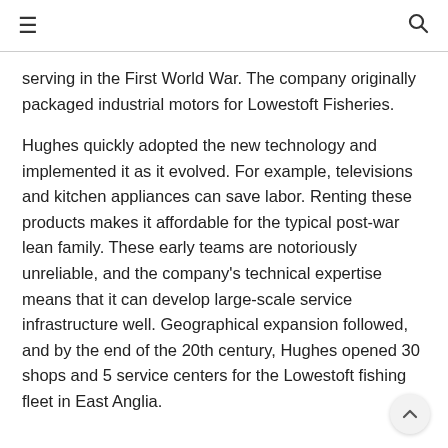≡  🔍
serving in the First World War. The company originally packaged industrial motors for Lowestoft Fisheries.
Hughes quickly adopted the new technology and implemented it as it evolved. For example, televisions and kitchen appliances can save labor. Renting these products makes it affordable for the typical post-war lean family. These early teams are notoriously unreliable, and the company's technical expertise means that it can develop large-scale service infrastructure well. Geographical expansion followed, and by the end of the 20th century, Hughes opened 30 shops and 5 service centers for the Lowestoft fishing fleet in East Anglia.